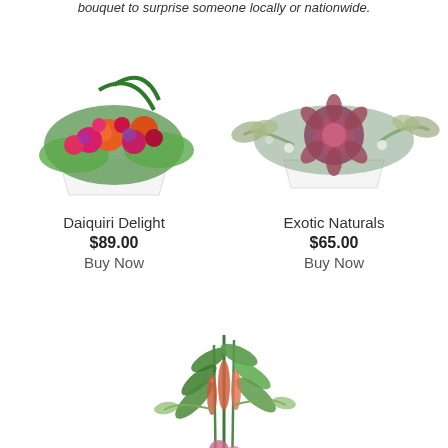bouquet to surprise someone locally or nationwide.
[Figure (photo): Colorful floral arrangement with red, orange, and pink roses in a white rectangular vase - Daiquiri Delight]
Daiquiri Delight
$89.00
Buy Now
[Figure (photo): Exotic floral arrangement with protea and eucalyptus in a white rectangular vase - Exotic Naturals]
Exotic Naturals
$65.00
Buy Now
[Figure (photo): Tall green and pink floral arrangement with tropical flowers]